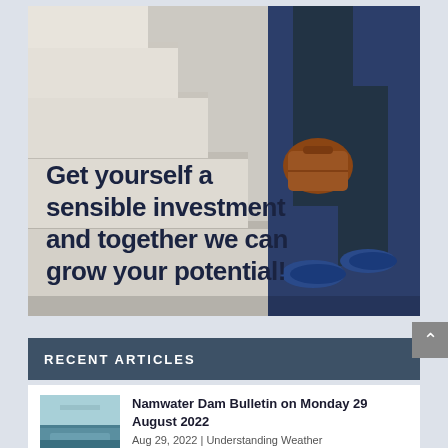[Figure (photo): A man in navy blue trousers and blue dress shoes walking up stone steps, carrying a brown leather briefcase. Text overlay reads: 'Get yourself a sensible investment and together we can grow your potential!']
RECENT ARTICLES
[Figure (photo): Thumbnail image of a dam or water reservoir]
Namwater Dam Bulletin on Monday 29 August 2022
Aug 29, 2022 | Understanding Weather